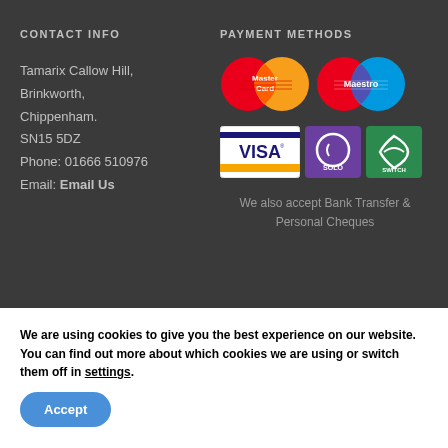CONTACT INFO
Tamarix Callow Hill,
Brinkworth,
Chippenham.
SN15 5DZ
Phone: 01666 510976
Email: Email Us
PAYMENT METHODS
[Figure (logo): MasterCard logo - red and orange overlapping circles with MasterCard text]
[Figure (logo): Maestro logo - red and blue overlapping circles with Maestro text]
[Figure (logo): Visa card logo - white rectangle with blue and gold VISA text]
[Figure (logo): Solo card logo - purple rectangle with Solo text]
[Figure (logo): Switch card logo - green rectangle with Switch text]
We also accept Bank Transfer & Personal Cheques
We are using cookies to give you the best experience on our website.
You can find out more about which cookies we are using or switch them off in settings.